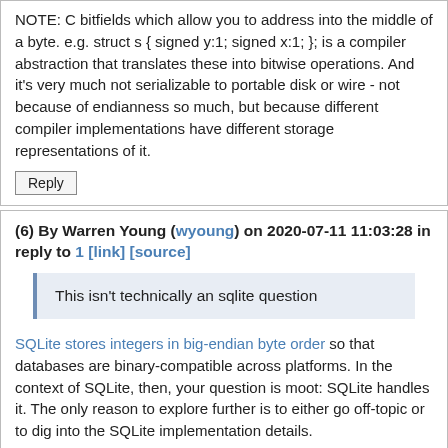NOTE: C bitfields which allow you to address into the middle of a byte. e.g. struct s { signed y:1; signed x:1; }; is a compiler abstraction that translates these into bitwise operations. And it's very much not serializable to portable disk or wire - not because of endianness so much, but because different compiler implementations have different storage representations of it.
Reply
(6) By Warren Young (wyoung) on 2020-07-11 11:03:28 in reply to 1 [link] [source]
This isn't technically an sqlite question
SQLite stores integers in big-endian byte order so that databases are binary-compatible across platforms. In the context of SQLite, then, your question is moot: SQLite handles it. The only reason to explore further is to either go off-topic or to dig into the SQLite implementation details.
If the former, please don't. :)
If the latter, are you sure you want to second-guess drh about